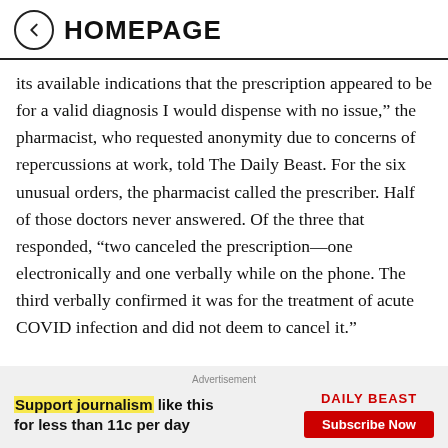HOMEPAGE
its available indications that the prescription appeared to be for a valid diagnosis I would dispense with no issue,” the pharmacist, who requested anonymity due to concerns of repercussions at work, told The Daily Beast. For the six unusual orders, the pharmacist called the prescriber. Half of those doctors never answered. Of the three that responded, “two canceled the prescription—one electronically and one verbally while on the phone. The third verbally confirmed it was for the treatment of acute COVID infection and did not deem to cancel it.”
Advertisement
Support journalism like this for less than 11c per day